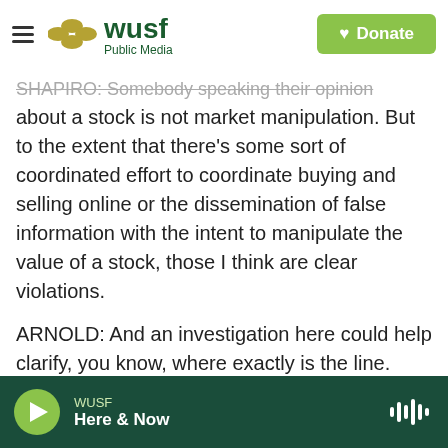WUSF Public Media | Donate
SHAPIRO: Somebody speaking their opinion about a stock is not market manipulation. But to the extent that there's some sort of coordinated effort to coordinate buying and selling online or the dissemination of false information with the intent to manipulate the value of a stock, those I think are clear violations.
ARNOLD: And an investigation here could help clarify, you know, where exactly is the line.
SHAPIRO: NPR's Chris Arnold, thanks for bringing us up to speed on the story.
WUSF | Here & Now